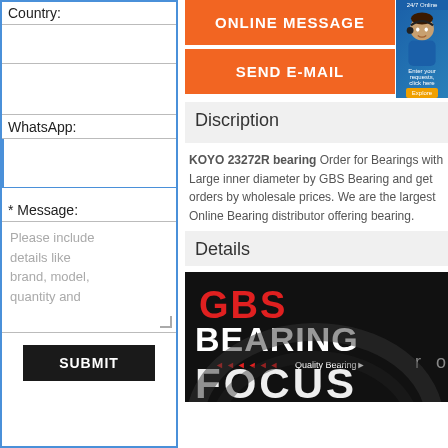Country:
WhatsApp:
* Message:
Please include details like brand, model, quantity and
SUBMIT
ONLINE MESSAGE
SEND E-MAIL
Discription
KOYO 23272R bearing Order for Bearings with Large inner diameter by GBS Bearing and get orders by wholesale prices. We are the largest Online Bearing distributor offering bearing.
Details
[Figure (logo): GBS Bearing logo with red GBS text, white BEARING text, and Quality Bearing tagline on dark background. Text FOCUS partially visible at bottom.]